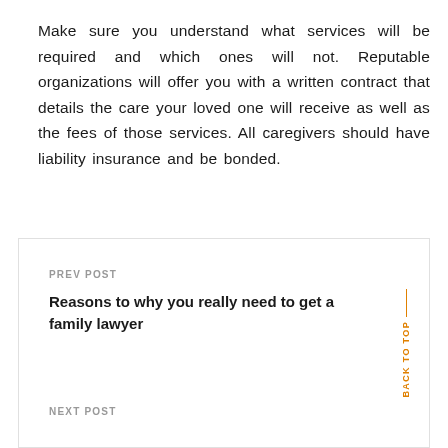Make sure you understand what services will be required and which ones will not. Reputable organizations will offer you with a written contract that details the care your loved one will receive as well as the fees of those services. All caregivers should have liability insurance and be bonded.
PREV POST
Reasons to why you really need to get a family lawyer
NEXT POST